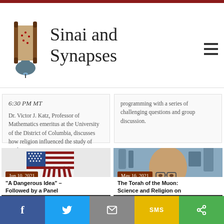Sinai and Synapses
6:30 PM MT
Dr. Victor J. Katz, Professor of Mathematics emeritus at the University of the District of Columbia, discusses how religion influenced the study of mathematics.
programming with a series of challenging questions and group discussion.
[Figure (photo): American flag illustration with red stripes hanging down like tentacles or fringe]
Jun 10, 2021
“A Dangerous Idea” – Followed by a Panel
[Figure (photo): Man with glasses and goatee, bald head, speaking on video call with aerial industrial background]
May 16, 2021
The Torah of the Muon: Science and Religion on